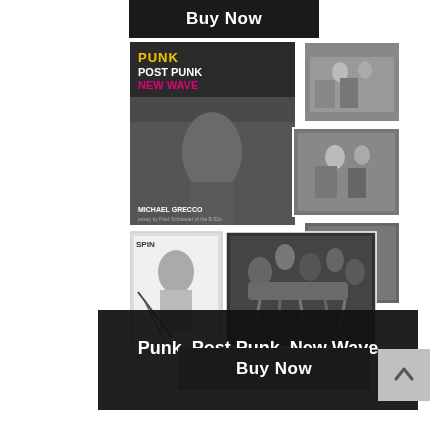[Figure (other): Buy Now button (top) - dark/black rectangle with white text]
[Figure (photo): Book cover collage for 'Punk, Post Punk, New Wave' Special Edition by Michael Grecco. Contains main book cover and several black-and-white photographs arranged as a spread.]
Punk, Post Punk, New Wave
Special Edition
[Figure (other): Buy Now button (bottom) - dark/black rectangle with white text]
[Figure (other): Scroll to top arrow button, light grey background with upward chevron]